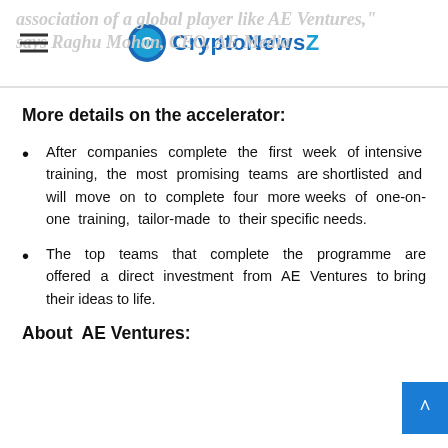CryptoNewsZ
More details on the accelerator:
After companies complete the first week of intensive training, the most promising teams are shortlisted and will move on to complete four more weeks of one-on-one training, tailor-made to their specific needs.
The top teams that complete the programme are offered a direct investment from AE Ventures to bring their ideas to life.
About  AE Ventures: